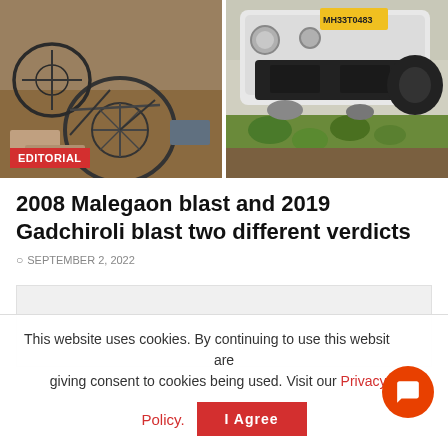[Figure (photo): Two news photos side by side: left shows a wrecked bicycle and debris on the ground (Malegaon blast aftermath); right shows an overturned white vehicle with license plate MH33T0483 (Gadchiroli blast aftermath). An 'EDITORIAL' red label tag appears on the bottom-left of the left photo.]
2008 Malegaon blast and 2019 Gadchiroli blast two different verdicts
SEPTEMBER 2, 2022
[Figure (other): Advertisement placeholder (grey box)]
This website uses cookies. By continuing to use this website you are giving consent to cookies being used. Visit our Privacy and Cookie Policy.
I Agree